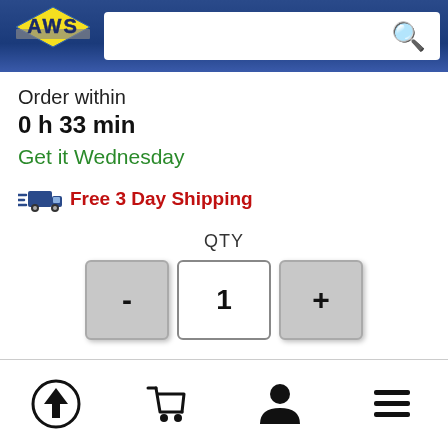[Figure (logo): AWS logo — yellow lightning bolt diamond shape with stylized text on blue gradient background]
Order within
0 h 33 min
Get it Wednesday
Free 3 Day Shipping
QTY
- 1 +
In Stock! Order now!
[Figure (screenshot): Bottom navigation bar with upload, cart, user, and menu icons]